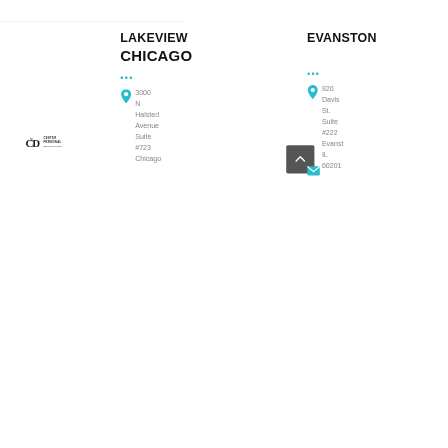[Figure (logo): Center for Personal Development logo (CPD initials with text)]
LAKEVIEW
EVANSTON
CHICAGO
3000 N Halsted Avenue Suite #723 Chicago
820 Davis St. Suite #222 Evanston IL 60201